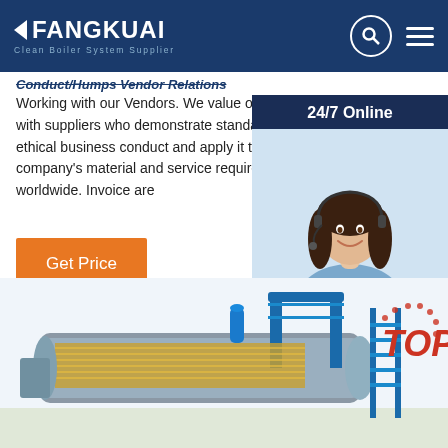FANGKUAI Clean Boiler System Supplier
Conduct/Humps Vendor Relations
Working with our Vendors. We value our relationship with suppliers who demonstrate standards of high ethical business conduct and apply it to meet the company's ma... and service requirements worldwide. Invoice ar...
Get Price
24/7 Online
Click here for free chat !
QUOTATION
[Figure (photo): Industrial boiler 3D rendering showing a large blue horizontal boiler with internal heat exchanger components and a TOP badge/watermark in the lower right corner]